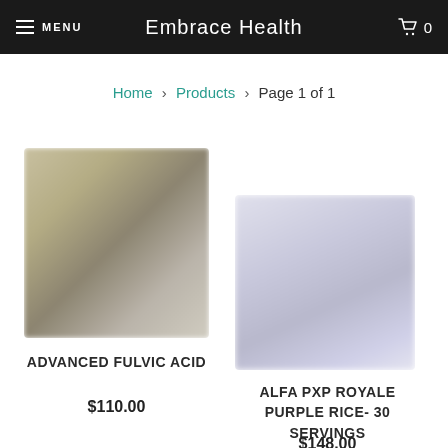MENU | Embrace Health | 0
Home > Products > Page 1 of 1
[Figure (photo): Blurred product photo for Advanced Fulvic Acid supplement]
ADVANCED FULVIC ACID
$110.00
[Figure (photo): Blurred product photo for Alfa PXP Royale Purple Rice 30 Servings supplement]
ALFA PXP ROYALE PURPLE RICE- 30 SERVINGS
$148.00